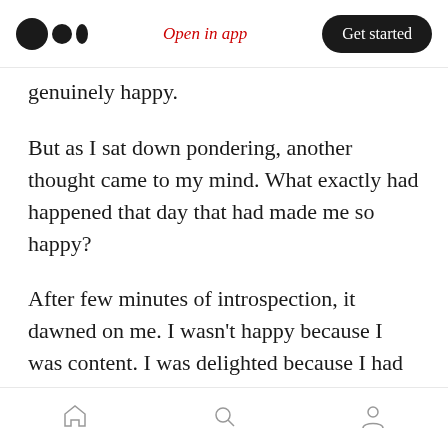Open in app | Get started
genuinely happy.
But as I sat down pondering, another thought came to my mind. What exactly had happened that day that had made me so happy?
After few minutes of introspection, it dawned on me. I wasn't happy because I was content. I was delighted because I had gained approval and awe from others.
· · ·
Home | Search | Profile